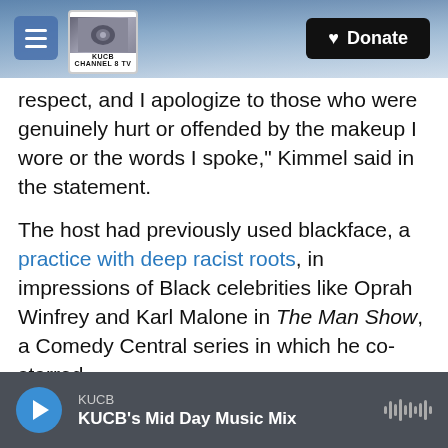KUCB Channel 8 TV — Donate
respect, and I apologize to those who were genuinely hurt or offended by the makeup I wore or the words I spoke," Kimmel said in the statement.
The host had previously used blackface, a practice with deep racist roots, in impressions of Black celebrities like Oprah Winfrey and Karl Malone in The Man Show, a Comedy Central series in which he co-starred.
Footage of Kimmel impersonating Malone, in particular, had been circulating the Internet in recent weeks. In the video, Kimmel is pictured on a basketball court in full-body black makeup, using an
KUCB — KUCB's Mid Day Music Mix